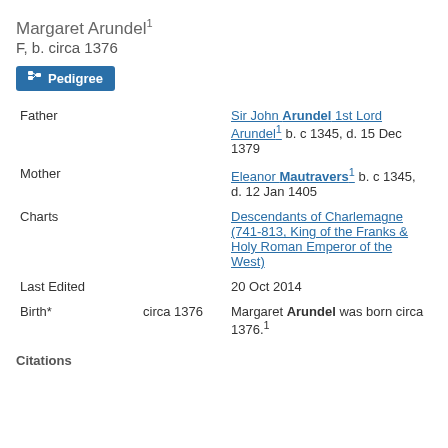Margaret Arundel¹
F, b. circa 1376
[Figure (other): Pedigree button]
| Field | Date | Value |
| --- | --- | --- |
| Father |  | Sir John Arundel 1st Lord Arundel¹ b. c 1345, d. 15 Dec 1379 |
| Mother |  | Eleanor Mautravers¹ b. c 1345, d. 12 Jan 1405 |
| Charts |  | Descendants of Charlemagne (741-813, King of the Franks & Holy Roman Emperor of the West) |
| Last Edited |  | 20 Oct 2014 |
| Birth* | circa 1376 | Margaret Arundel was born circa 1376.¹ |
Citations